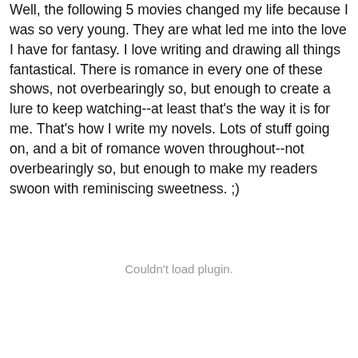Well, the following 5 movies changed my life because I was so very young. They are what led me into the love I have for fantasy. I love writing and drawing all things fantastical. There is romance in every one of these shows, not overbearingly so, but enough to create a lure to keep watching--at least that's the way it is for me. That's how I write my novels. Lots of stuff going on, and a bit of romance woven throughout--not overbearingly so, but enough to make my readers swoon with reminiscing sweetness. ;)
Couldn't load plugin.